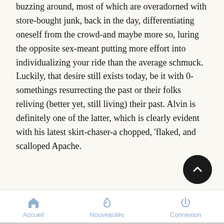buzzing around, most of which are overadorned with store-bought junk, back in the day, differentiating oneself from the crowd-and maybe more so, luring the opposite sex-meant putting more effort into individualizing your ride than the average schmuck. Luckily, that desire still exists today, be it with 0-somethings resurrecting the past or their folks reliving (better yet, still living) their past. Alvin is definitely one of the latter, which is clearly evident with his latest skirt-chaser-a chopped, 'flaked, and scalloped Apache.
With the help and support of Alvin's family and friends and the "era-true" eye of Oz kustom, the old workhorse went from being a dormant for decades to slick, to a purple-primered Fleetside with a tastefully lowered lid, to the emerald green sled it is now.
Accueil   Nouveautés   Connexion